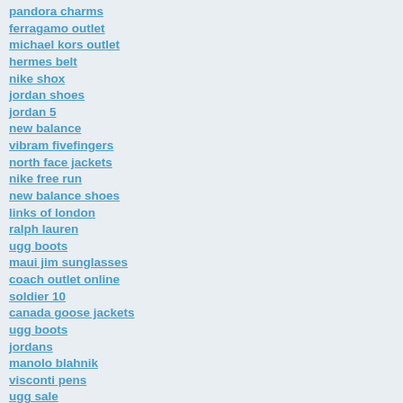pandora charms
ferragamo outlet
michael kors outlet
hermes belt
nike shox
jordan shoes
jordan 5
new balance
vibram fivefingers
north face jackets
nike free run
new balance shoes
links of london
ralph lauren
ugg boots
maui jim sunglasses
coach outlet online
soldier 10
canada goose jackets
ugg boots
jordans
manolo blahnik
visconti pens
ugg sale